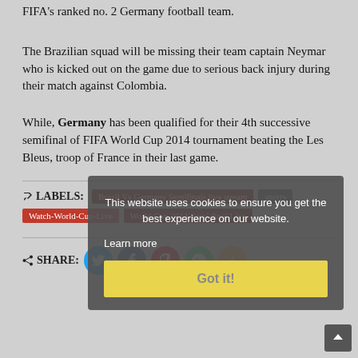FIFA's ranked no. 2 Germany football team.
The Brazilian squad will be missing their team captain Neymar who is kicked out on the game due to serious back injury during their match against Colombia.
While, Germany has been qualified for their 4th successive semifinal of FIFA World Cup 2014 tournament beating the Les Bleus, troop of France in their last game.
LABELS: Brazil Vs Germany Semifinals live stream, sports, Watch-World-Cup-Live, World Cup 2014 Semi-final Live
SHARE: (Twitter, Facebook, Pinterest, WhatsApp, More)
This website uses cookies to ensure you get the best experience on our website. Learn more Got it!